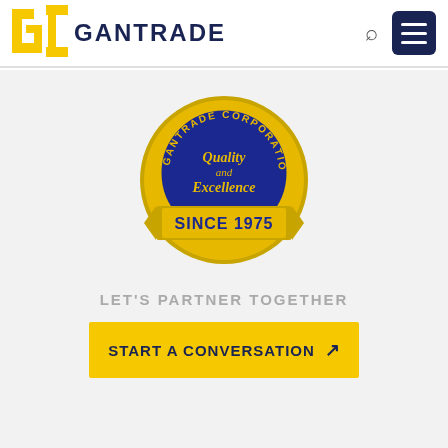[Figure (logo): Gantrade Corporation logo with GC letters in gold/yellow and blue, with GANTRADE text in navy]
[Figure (illustration): Gantrade Corporation gold and blue seal badge reading 'GANTRADE CORPORATION - Quality and Excellence - SINCE 1975']
LET'S PARTNER TOGETHER
START A CONVERSATION ↗